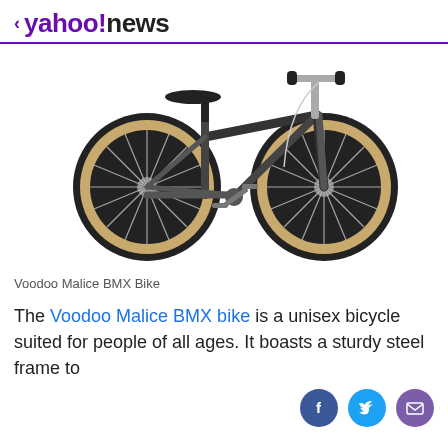< yahoo!news
[Figure (photo): Black BMX bicycle (Voodoo Malice) with tan/cream tire sidewalls, chrome handlebars, on white background]
Voodoo Malice BMX Bike
The Voodoo Malice BMX bike is a unisex bicycle suited for people of all ages. It boasts a sturdy steel frame to